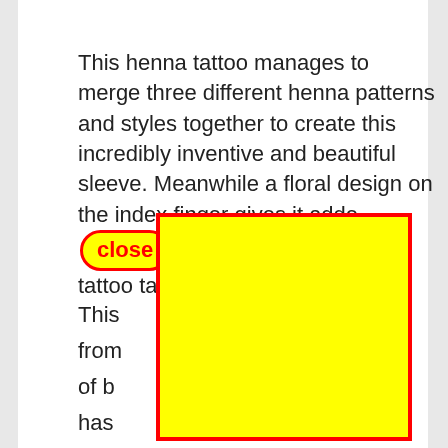This henna tattoo manages to merge three different henna patterns and styles together to create this incredibly inventive and beautiful sleeve. Meanwhile a floral design on the index finger gives it adde[close]more ideas about henna tattoo tattoos henna
This [obscured] from [obscured] nds of b[obscured] oo has [obscured] he hea[obscured]
The [obscured] intric[obscured] are getti[obscured]e